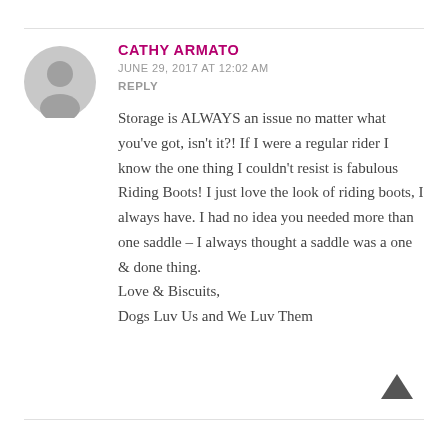CATHY ARMATO
JUNE 29, 2017 AT 12:02 AM
REPLY
Storage is ALWAYS an issue no matter what you've got, isn't it?! If I were a regular rider I know the one thing I couldn't resist is fabulous Riding Boots! I just love the look of riding boots, I always have. I had no idea you needed more than one saddle – I always thought a saddle was a one & done thing. Love & Biscuits,
Dogs Luv Us and We Luv Them